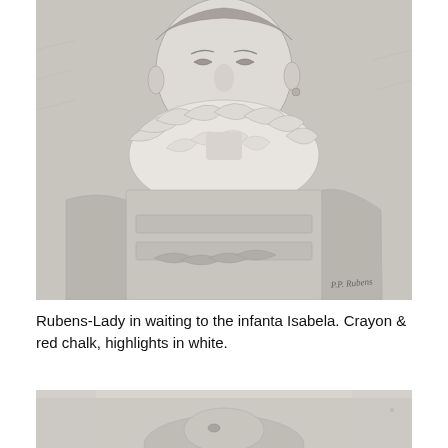[Figure (illustration): Pencil and chalk drawing by Rubens depicting a lady in waiting to the Infanta Isabela. Shows a young woman's portrait from chest up, wearing a large ruffled collar, with detailed shading in crayon and red chalk with white highlights. Artist's signature visible in lower right corner.]
Rubens-Lady in waiting to the infanta Isabela. Crayon & red chalk, highlights in white.
[Figure (illustration): Partial view of another Rubens drawing, showing the top portion of a figure, cropped at the bottom of the page.]